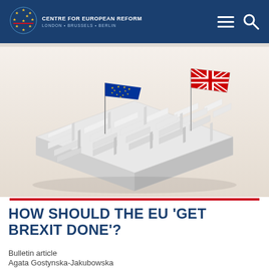CENTRE FOR EUROPEAN REFORM — LONDON • BRUSSELS • BERLIN
[Figure (photo): 3D rendered white maze/labyrinth with a European Union flag on the left side and a United Kingdom (Union Jack) flag on the right side, set against a neutral beige background.]
HOW SHOULD THE EU 'GET BREXIT DONE'?
Bulletin article
Agata Gostynska-Jakubowska